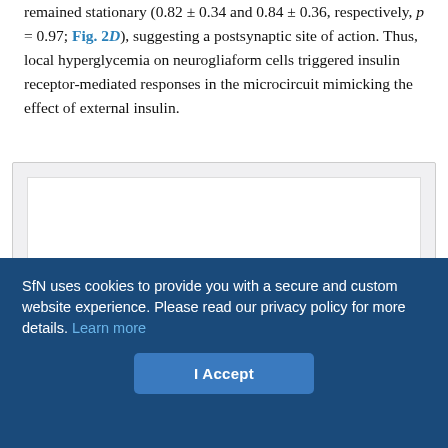remained stationary (0.82 ± 0.34 and 0.84 ± 0.36, respectively, p = 0.97; Fig. 2D), suggesting a postsynaptic site of action. Thus, local hyperglycemia on neurogliaform cells triggered insulin receptor-mediated responses in the microcircuit mimicking the effect of external insulin.
[Figure (other): A white figure panel area inside a light grey bordered box, appearing blank/empty (image content not visible in this crop)]
SfN uses cookies to provide you with a secure and custom website experience. Please read our privacy policy for more details. Learn more